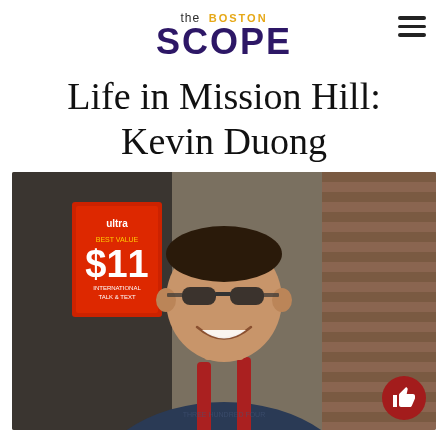the BOSTON SCOPE
Life in Mission Hill: Kevin Duong
[Figure (photo): Young man with glasses and short hair, wearing a dark blue t-shirt and backpack with red straps, smiling outdoors in front of a store with a sign showing '$11 International Talk & Text'. Brick building visible in background.]